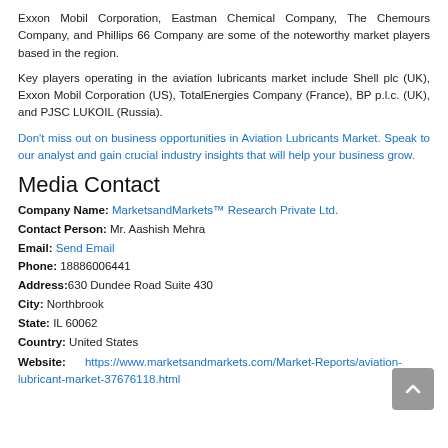Exxon Mobil Corporation, Eastman Chemical Company, The Chemours Company, and Phillips 66 Company are some of the noteworthy market players based in the region.
Key players operating in the aviation lubricants market include Shell plc (UK), Exxon Mobil Corporation (US), TotalEnergies Company (France), BP p.l.c. (UK), and PJSC LUKOIL (Russia).
Don't miss out on business opportunities in Aviation Lubricants Market. Speak to our analyst and gain crucial industry insights that will help your business grow.
Media Contact
Company Name: MarketsandMarkets™ Research Private Ltd.
Contact Person: Mr. Aashish Mehra
Email: Send Email
Phone: 18886006441
Address: 630 Dundee Road Suite 430
City: Northbrook
State: IL 60062
Country: United States
Website: https://www.marketsandmarkets.com/Market-Reports/aviation-lubricant-market-37676118.html